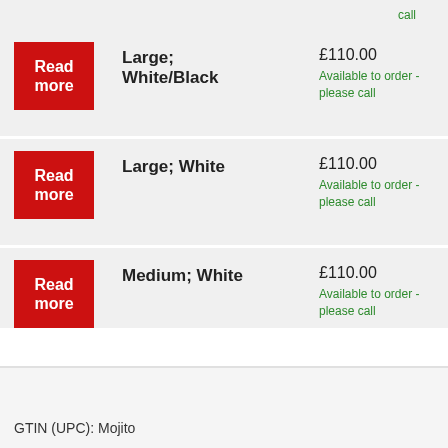call
Large; White/Black
£110.00
Available to order - please call
Large; White
£110.00
Available to order - please call
Medium; White
£110.00
Available to order - please call
GTIN (UPC): Mojito